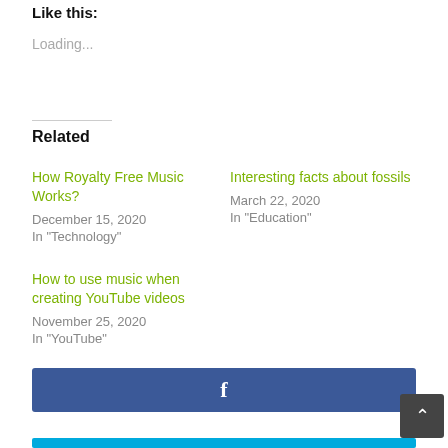Like this:
Loading...
Related
How Royalty Free Music Works?
December 15, 2020
In "Technology"
Interesting facts about fossils
March 22, 2020
In "Education"
How to use music when creating YouTube videos
November 25, 2020
In "YouTube"
[Figure (other): Facebook share button bar (blue background with white f icon)]
[Figure (other): Scroll to top button (dark grey with up arrow) and partial blue bar at bottom]